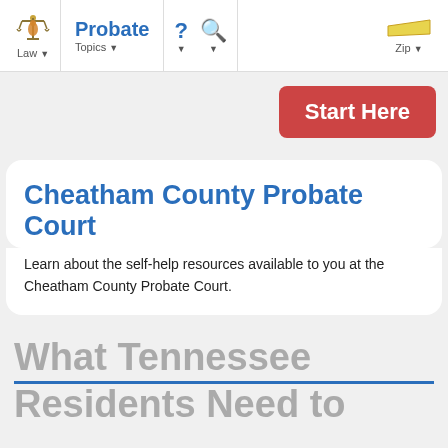Law | Probate Topics | ? | Search | Zip
[Figure (screenshot): Start Here red button banner]
Cheatham County Probate Court
Learn about the self-help resources available to you at the Cheatham County Probate Court.
What Tennessee Residents Need to